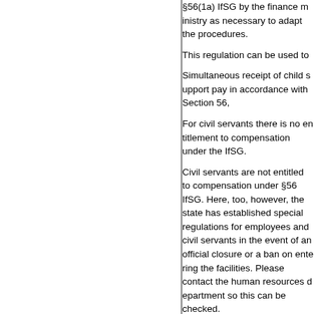§56(1a) IfSG by the finance ministry as necessary to adapt the procedures.
This regulation can be used to
Simultaneous receipt of child sick pay in accordance with Section 56,
For civil servants there is no entitlement to compensation under the IfSG.
Civil servants are not entitled to compensation under §56 IfSG. Here, too, however, the state has established special regulations for employees and civil servants in the event of an official closure or a ban on entering the facilities. Please contact the human resources department so this can be checked.
In cases of particular hardship (e.g. single parents needing childcare) the Human Resources Department can grant a release from duties on continued pay for employees who have neither a positive work-time balance nor leave from 2020 or earlier. Work-related reasons must take priority. Proof of the circumstances justifying a claim (e.g. the lack of available child care must be submitted by employees or their respective supervisors to the personnel assistant responsible in Human